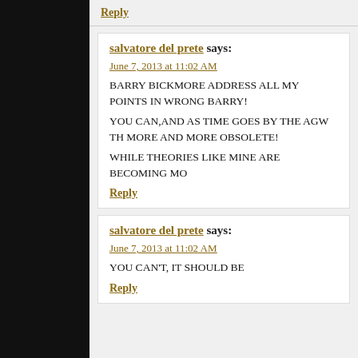Reply
salvatore del prete says:
June 7, 2013 at 11:02 AM
BARRY BICKMORE ADDRESS ALL MY POINTS IN WRONG BARRY!
YOU CAN,AND AS TIME GOES BY THE AGW TH MORE AND MORE OBSOLETE!
WHILE THEORIES LIKE MINE ARE BECOMING MO
Reply
salvatore del prete says:
June 7, 2013 at 11:02 AM
YOU CAN'T, IT SHOULD BE
Reply